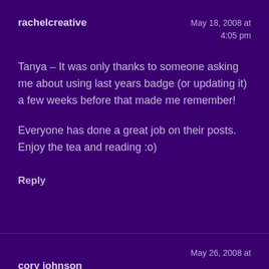rachelcreative
May 18, 2008 at
4:05 pm
Tanya – It was only thanks to someone asking me about using last years badge (or updating it) a few weeks before that made me remember!
Everyone has done a great job on their posts. Enjoy the tea and reading :o)
Reply
cory johnson
May 26, 2008 at